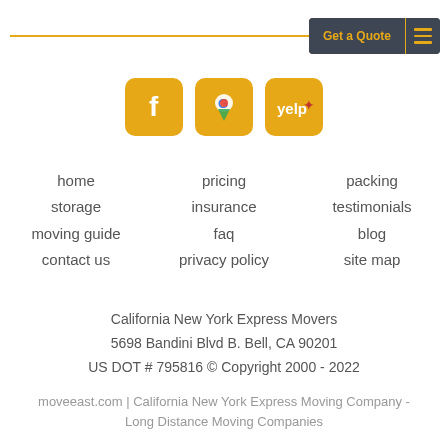Get a Quote
[Figure (logo): Three social media icons: Facebook (f), Google Maps, and Yelp, each with amber/yellow rounded square backgrounds]
home
storage
moving guide
contact us
pricing
insurance
faq
privacy policy
packing
testimonials
blog
site map
California New York Express Movers
5698 Bandini Blvd B. Bell, CA 90201
US DOT # 795816 © Copyright 2000 - 2022
moveeast.com | California New York Express Moving Company - Long Distance Moving Companies